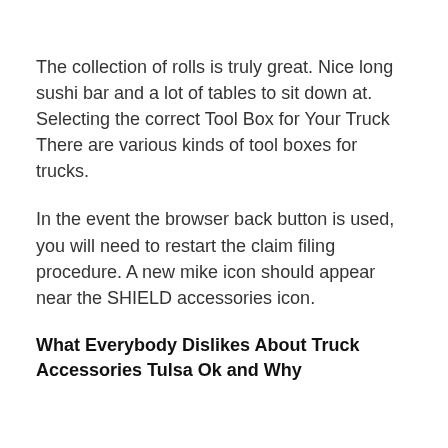The collection of rolls is truly great. Nice long sushi bar and a lot of tables to sit down at. Selecting the correct Tool Box for Your Truck There are various kinds of tool boxes for trucks.
In the event the browser back button is used, you will need to restart the claim filing procedure. A new mike icon should appear near the SHIELD accessories icon.
What Everybody Dislikes About Truck Accessories Tulsa Ok and Why